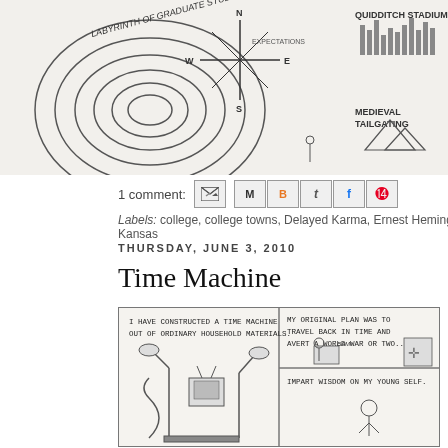[Figure (illustration): Top portion of a hand-drawn map illustration showing 'Labyrinth of Graduate Studies', compass rose, 'Quidditch Stadium', 'Medieval Tailgating' text, and various drawn figures and elements.]
1 comment:
Labels: college, college towns, Delayed Karma, Ernest Hemingway, Frank Gehry, Kansas
THURSDAY, JUNE 3, 2010
Time Machine
[Figure (illustration): Comic strip panels. Panel 1 text: 'I HAVE CONSTRUCTED A TIME MACHINE OUT OF ORDINARY HOUSEHOLD MATERIALS.' with drawing of makeshift machine. Panel 2 text: 'MY ORIGINAL PLAN WAS TO TRAVEL BACK IN TIME AND AVERT A WORLD WAR OR TWO...' with scene. Bottom right panel text: 'IMPART WISDOM ON MY YOUNG SELF.']